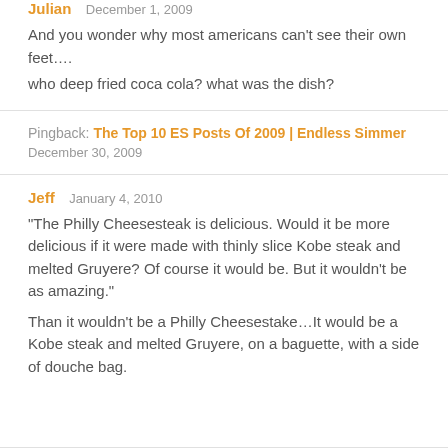Julian  December 1, 2009
And you wonder why most americans can't see their own feet….
who deep fried coca cola? what was the dish?
Pingback: The Top 10 ES Posts Of 2009 | Endless Simmer
December 30, 2009
Jeff  January 4, 2010
"The Philly Cheesesteak is delicious. Would it be more delicious if it were made with thinly slice Kobe steak and melted Gruyere? Of course it would be. But it wouldn't be as amazing."
Than it wouldn't be a Philly Cheesestake…It would be a Kobe steak and melted Gruyere, on a baguette, with a side of douche bag.